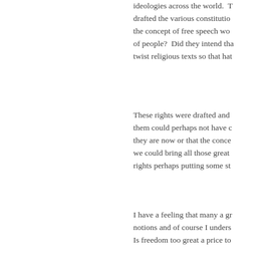ideologies across the world.  T drafted the various constitutio the concept of free speech wo of people?  Did they intend tha twist religious texts so that hat
These rights were drafted and them could perhaps not have c they are now or that the conce we could bring all those great  rights perhaps putting some st
I have a feeling that many a gr notions and of course I unders Is freedom too great a price to
Share this:
[Figure (screenshot): Tweet button (blue rounded), Email button (outlined), Print button (outlined)]
[Figure (screenshot): Like button with star icon, two blogger avatars]
2 bloggers like this.